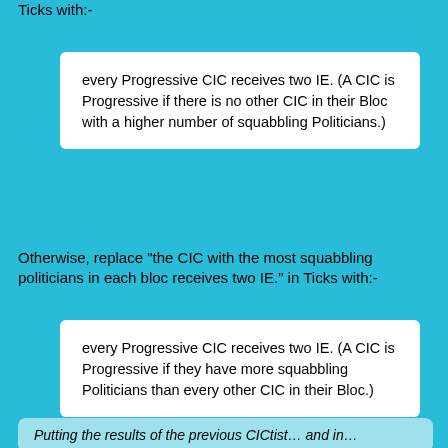Ticks with:-
every Progressive CIC receives two IE. (A CIC is Progressive if there is no other CIC in their Bloc with a higher number of squabbling Politicians.)
Otherwise, replace “the CIC with the most squabbling politicians in each bloc receives two IE.” in Ticks with:-
every Progressive CIC receives two IE. (A CIC is Progressive if they have more squabbling Politicians than every other CIC in their Bloc.)
Putting the results of the previous CICtist… and in…